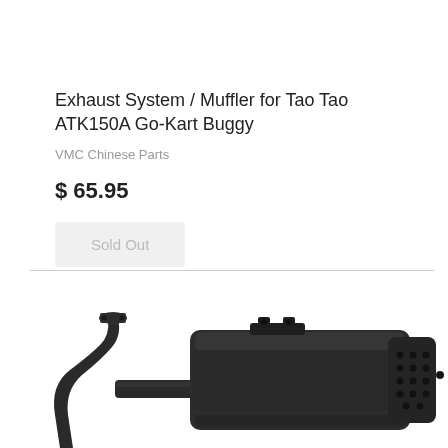Exhaust System / Muffler for Tao Tao ATK150A Go-Kart Buggy
VMC Chinese Parts
$ 65.95
Sold Out
[Figure (photo): Black exhaust system / muffler for Tao Tao ATK150A Go-Kart Buggy, showing the pipe header on the left and the rectangular muffler body with perforated end cap on the right, photographed against a white background.]